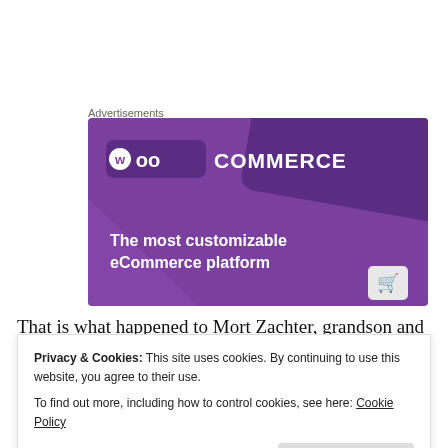Advertisements
[Figure (advertisement): WooCommerce advertisement banner with purple background showing 'WOO COMMERCE' logo and tagline 'The most customizable eCommerce platform' with a shopping cart icon]
That is what happened to Mort Zachter, grandson and
Privacy & Cookies: This site uses cookies. By continuing to use this website, you agree to their use.
To find out more, including how to control cookies, see here: Cookie Policy
storefront, the Wolk family sold day old breads and cakes